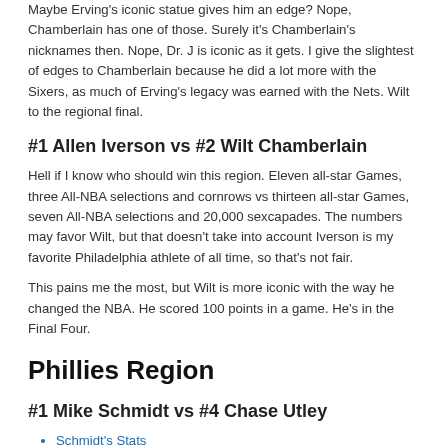Maybe Erving's iconic statue gives him an edge? Nope, Chamberlain has one of those. Surely it's Chamberlain's nicknames then. Nope, Dr. J is iconic as it gets. I give the slightest of edges to Chamberlain because he did a lot more with the Sixers, as much of Erving's legacy was earned with the Nets. Wilt to the regional final.
#1 Allen Iverson vs #2 Wilt Chamberlain
Hell if I know who should win this region. Eleven all-star Games, three All-NBA selections and cornrows vs thirteen all-star Games, seven All-NBA selections and 20,000 sexcapades. The numbers may favor Wilt, but that doesn't take into account Iverson is my favorite Philadelphia athlete of all time, so that's not fair.
This pains me the most, but Wilt is more iconic with the way he changed the NBA. He scored 100 points in a game. He's in the Final Four.
Phillies Region
#1 Mike Schmidt vs #4 Chase Utley
Schmidt's Stats
Utley's Stats